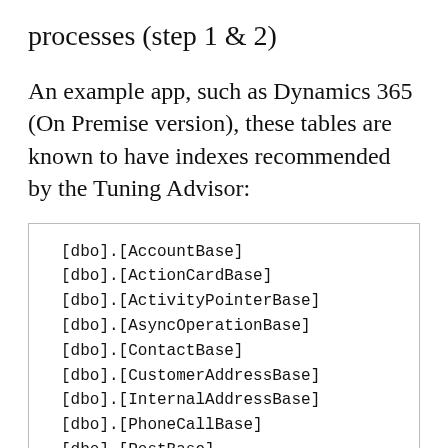processes (step 1 & 2)
An example app, such as Dynamics 365 (On Premise version), these tables are known to have indexes recommended by the Tuning Advisor:
[dbo].[AccountBase]
[dbo].[ActionCardBase]
[dbo].[ActivityPointerBase]
[dbo].[AsyncOperationBase]
[dbo].[ContactBase]
[dbo].[CustomerAddressBase]
[dbo].[InternalAddressBase]
[dbo].[PhoneCallBase]
[dbo].[PostBase]
[dbo].[SystemUserBase]
[dbo].[WorkflowBase]